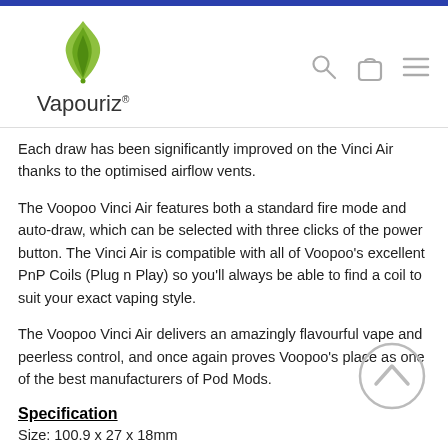Vapouriz®
Each draw has been significantly improved on the Vinci Air thanks to the optimised airflow vents.
The Voopoo Vinci Air features both a standard fire mode and auto-draw, which can be selected with three clicks of the power button. The Vinci Air is compatible with all of Voopoo's excellent PnP Coils (Plug n Play) so you'll always be able to find a coil to suit your exact vaping style.
The Voopoo Vinci Air delivers an amazingly flavourful vape and peerless control, and once again proves Voopoo's place as one of the best manufacturers of Pod Mods.
Specification
Size: 100.9 x 27 x 18mm
Capacity: 2ml
Material: PCTG
Resistance: 0.6Ω​PnP-VM4​
1.0Ω​PnP-R2​
Material: Zinc Alloy